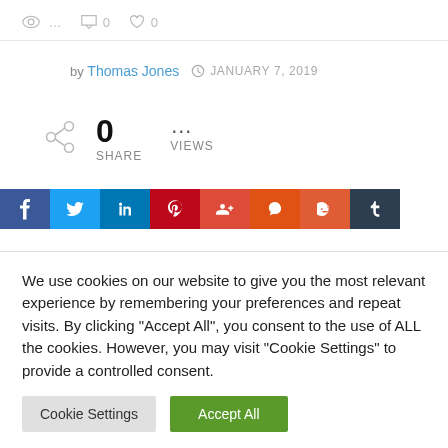… 0 0
by Thomas Jones  JANUARY 7, 2019
0 SHARE  … VIEWS
[Figure (other): Social sharing buttons: Facebook, Twitter, LinkedIn, Pinterest, Google+, StumbleUpon, Reddit, Tumblr]
We use cookies on our website to give you the most relevant experience by remembering your preferences and repeat visits. By clicking "Accept All", you consent to the use of ALL the cookies. However, you may visit "Cookie Settings" to provide a controlled consent.
Cookie Settings   Accept All